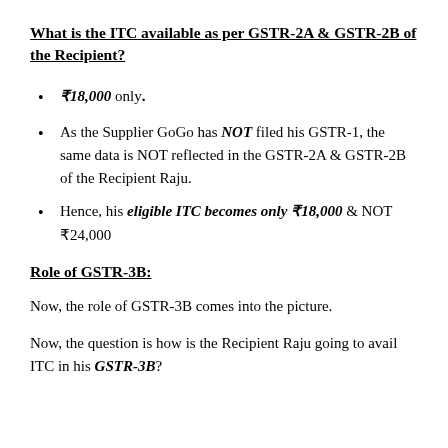What is the ITC available as per GSTR-2A & GSTR-2B of the Recipient?
₹18,000 only.
As the Supplier GoGo has NOT filed his GSTR-1, the same data is NOT reflected in the GSTR-2A & GSTR-2B of the Recipient Raju.
Hence, his eligible ITC becomes only ₹18,000 & NOT ₹24,000
Role of GSTR-3B:
Now, the role of GSTR-3B comes into the picture.
Now, the question is how is the Recipient Raju going to avail ITC in his GSTR-3B?